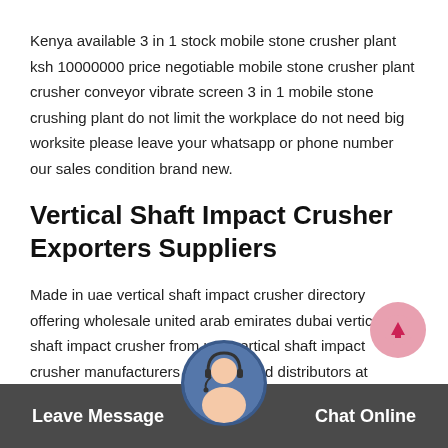Kenya available 3 in 1 stock mobile stone crusher plant ksh 10000000 price negotiable mobile stone crusher plant crusher conveyor vibrate screen 3 in 1 mobile stone crushing plant do not limit the workplace do not need big worksite please leave your whatsapp or phone number our sales condition brand new.
Vertical Shaft Impact Crusher Exporters Suppliers
Made in uae vertical shaft impact crusher directory offering wholesale united arab emirates dubai vertical shaft impact crusher from uae vertical shaft impact crusher manufacturers suppliers and distributors at tradekeycom.
Leave Message   Chat Online